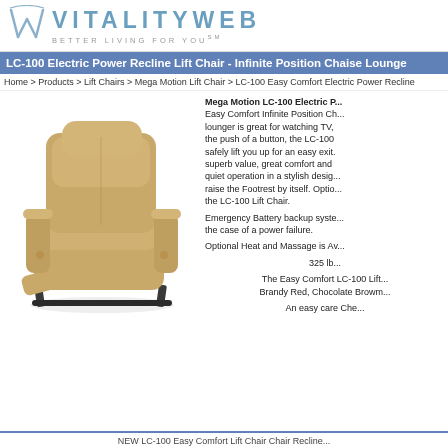[Figure (logo): VitalityWeb logo with stylized W icon and tagline BETTER LIVING FOR YOU]
LC-100 Electric Power Recline Lift Chair - Infinite Position Chaise Lounge
Home > Products > Lift Chairs > Mega Motion Lift Chair > LC-100 Easy Comfort Electric Power Recline
[Figure (photo): Tan/beige upholstered lift chair (Mega Motion LC-100) shown in slightly reclined position with footrest extended, on white background]
Mega Motion LC-100 Electric P... Easy Comfort Infinite Position Ch... lounger is great for watching TV, the push of a button, the LC-100 safely lift you up for an easy exit. superb value, great comfort and quiet operation in a stylish design raise the Footrest by itself. Optio... the LC-100 Lift Chair.
Emergency Battery backup syste... the case of a power failure.
Optional Heat and Massage is Av...
325 lb
The Easy Comfort LC-100 Lift... Brandy Red, Chocolate Browm...
An easy care Che...
NEW LC-100 Easy Comfort Lift Chair Chair Recline...